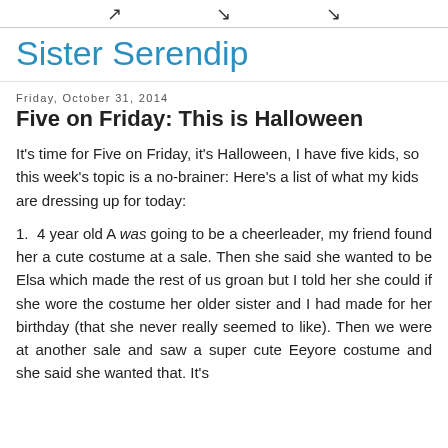▲ ▲ ▲
Sister Serendip
Friday, October 31, 2014
Five on Friday: This is Halloween
It's time for Five on Friday, it's Halloween, I have five kids, so this week's topic is a no-brainer: Here's a list of what my kids are dressing up for today:
1.  4 year old A was going to be a cheerleader, my friend found her a cute costume at a sale. Then she said she wanted to be Elsa which made the rest of us groan but I told her she could if she wore the costume her older sister and I had made for her birthday (that she never really seemed to like). Then we were at another sale and saw a super cute Eeyore costume and she said she wanted that. It's